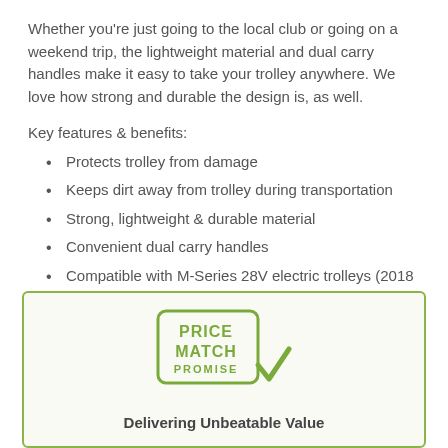Whether you're just going to the local club or going on a weekend trip, the lightweight material and dual carry handles make it easy to take your trolley anywhere. We love how strong and durable the design is, as well.
Key features & benefits:
Protects trolley from damage
Keeps dirt away from trolley during transportation
Strong, lightweight & durable material
Convenient dual carry handles
Compatible with M-Series 28V electric trolleys (2018 onwards), including M7 Remote
You can get this travel cover yourself by clicking the button and ordering one to collect from our Pro Shop.
[Figure (logo): Price Match Promise badge — a rounded rectangle outline with the text PRICE MATCH PROMISE and a checkmark, in olive/green color]
Delivering Unbeatable Value